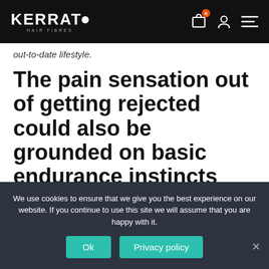KERRATO HAIR FIBRES
out-to-date lifestyle.
The pain sensation out of getting rejected could also be grounded on basic endurance instincts
For the majority types of animals, their odds of success
We use cookies to ensure that we give you the best experience on our website. If you continue to use this site we will assume that you are happy with it.
Ok   Privacy policy